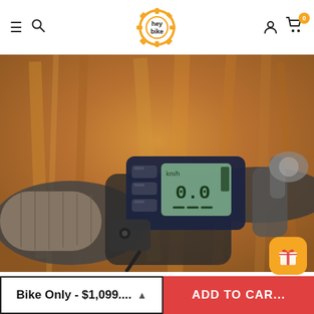heybike — navigation header with hamburger menu, search, logo, user account, and cart (0 items)
[Figure (photo): Close-up photo of an electric bike handlebar with a digital LCD display unit mounted at center, control buttons on the left, brake levers and handgrips visible, blurred golden/brown natural background]
Bike Only - $1,099.... ▲
ADD TO CAR...